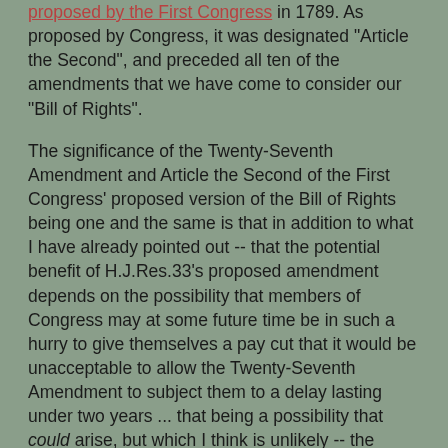proposed by the First Congress in 1789. As proposed by Congress, it was designated "Article the Second", and preceded all ten of the amendments that we have come to consider our "Bill of Rights".
The significance of the Twenty-Seventh Amendment and Article the Second of the First Congress' proposed version of the Bill of Rights being one and the same is that in addition to what I have already pointed out -- that the potential benefit of H.J.Res.33's proposed amendment depends on the possibility that members of Congress may at some future time be in such a hurry to give themselves a pay cut that it would be unacceptable to allow the Twenty-Seventh Amendment to subject them to a delay lasting under two years ... that being a possibility that could arise, but which I think is unlikely -- the means by which H.J.Res.33 would have provided for this improbable future event would have been to repeal part of the Bill of Rights (as proposed by the First Congress), only to replace what had been repealed with almost precisely the same thing, changing only a single word in order to achieve a negligible change in substance. Keep in mind that the very same effect could have been achieved